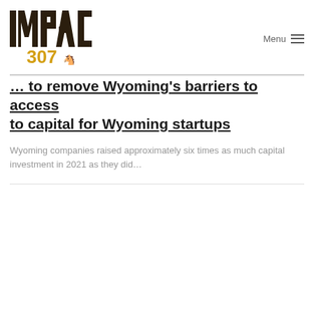[Figure (logo): Impact307 logo — bold brown and gold text reading IMPACT 307 with a small bucking horse icon]
... to remove Wyoming's barriers to capital for Wyoming startups
Wyoming companies raised approximately six times as much capital investment in 2021 as they did…